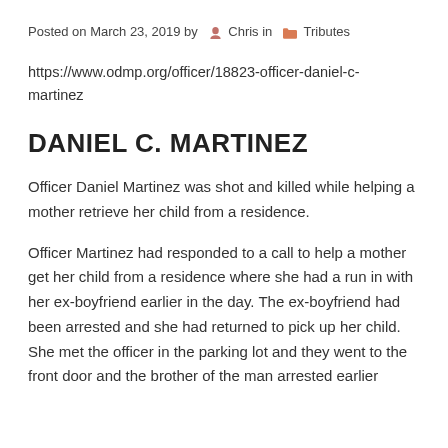Posted on March 23, 2019 by Chris in Tributes
https://www.odmp.org/officer/18823-officer-daniel-c-martinez
DANIEL C. MARTINEZ
Officer Daniel Martinez was shot and killed while helping a mother retrieve her child from a residence.
Officer Martinez had responded to a call to help a mother get her child from a residence where she had a run in with her ex-boyfriend earlier in the day. The ex-boyfriend had been arrested and she had returned to pick up her child. She met the officer in the parking lot and they went to the front door and the brother of the man arrested earlier